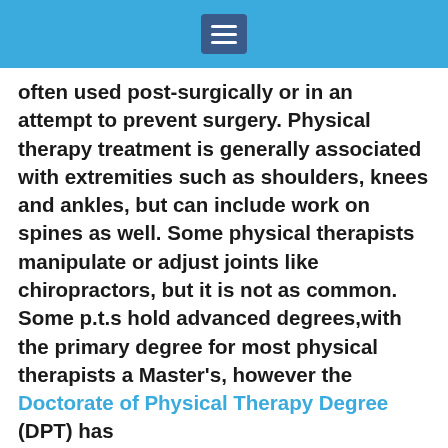[Menu icon / navigation bar]
often used post-surgically or in an attempt to prevent surgery. Physical therapy treatment is generally associated with extremities such as shoulders, knees and ankles, but can include work on spines as well. Some physical therapists manipulate or adjust joints like chiropractors, but it is not as common.  Some p.t.s hold advanced degrees,with the primary degree for most physical therapists a Master's, however the Doctorate of Physical Therapy Degree (DPT) has